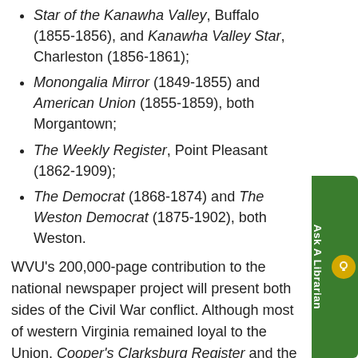Star of the Kanawha Valley, Buffalo (1855-1856), and Kanawha Valley Star, Charleston (1856-1861);
Monongalia Mirror (1849-1855) and American Union (1855-1859), both Morgantown;
The Weekly Register, Point Pleasant (1862-1909);
The Democrat (1868-1874) and The Weston Democrat (1875-1902), both Weston.
WVU's 200,000-page contribution to the national newspaper project will present both sides of the Civil War conflict. Although most of western Virginia remained loyal to the Union, Cooper's Clarksburg Register and the Kanawha Valley Star opposed abolition and the separation of Virginia's western counties to form a new state.
Researchers will also have immediate access to reporting on the growing antebellum conflict between eastern and western Virginia, John Brown's Raid, West Virginia's statehood movement and establishment, West